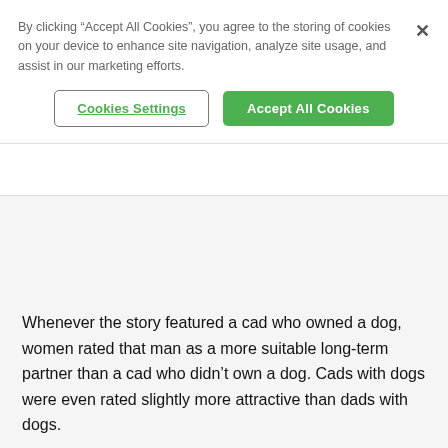By clicking “Accept All Cookies”, you agree to the storing of cookies on your device to enhance site navigation, analyze site usage, and assist in our marketing efforts.
[Figure (screenshot): Cookie consent banner with 'Cookies Settings' and 'Accept All Cookies' buttons, plus a close (X) button]
Whenever the story featured a cad who owned a dog, women rated that man as a more suitable long-term partner than a cad who didn’t own a dog. Cads with dogs were even rated slightly more attractive than dads with dogs.
The researchers concluded that owning a pet signals